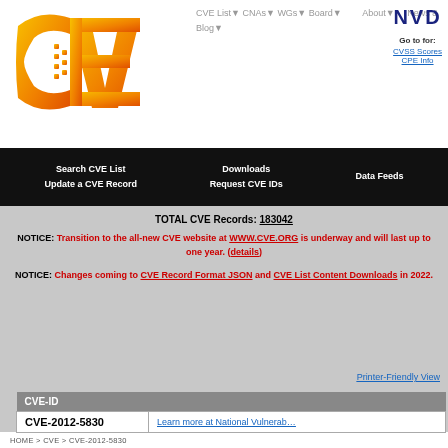[Figure (logo): CVE logo — orange gradient letters 'CVE' with dot-matrix style dots]
CVE List▼  CNAs▼  WGs▼  Board▼  About▼  News & Blog▼  NVD  Go to for: CVSS Scores  CPE Info
Search CVE List  Downloads  Data Feeds  Update a CVE Record  Request CVE IDs
TOTAL CVE Records: 183042
NOTICE: Transition to the all-new CVE website at WWW.CVE.ORG is underway and will last up to one year. (details)
NOTICE: Changes coming to CVE Record Format JSON and CVE List Content Downloads in 2022.
HOME > CVE > CVE-2012-5830
Printer-Friendly View
| CVE-ID |  |
| --- | --- |
| CVE-2012-5830 | Learn more at National Vulnerab... |